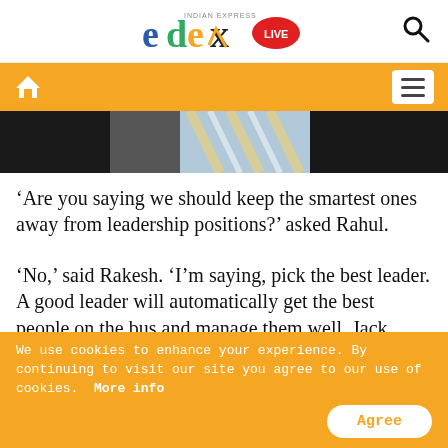edexLIVE - Indian Express
[Figure (photo): Partial photo showing a man in a suit with a striped tie, cropped to show neck/chest area]
‘Are you saying we should keep the smartest ones away from leadership positions?’ asked Rahul.
‘No,’ said Rakesh. ‘I’m saying, pick the best leader. A good leader will automatically get the best people on the bus and manage them well. Jack Welch says that from the first person he hired, he was never the smartest
We use cookies to enhance your experience. By continuing to visit our site you agree to our use of cookies. More info